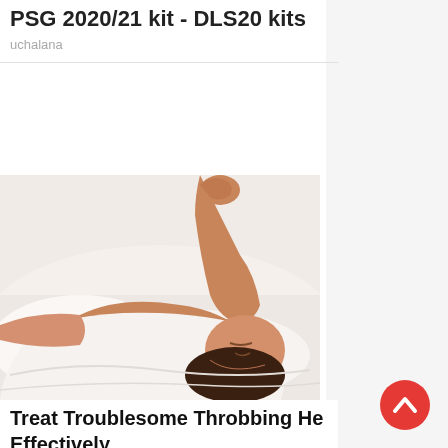PSG 2020/21 kit - DLS20 kits
uchalana
[Figure (photo): A person lying on their back on a white surface, appearing to be resting or experiencing a headache, with arm raised near face]
Treat Troublesome Throbbing He Effectively
Migraine | Search Ads | Sponsored